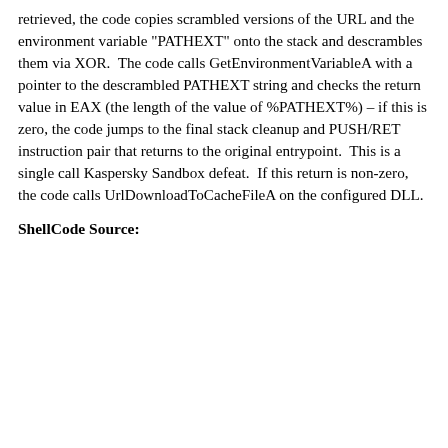retrieved, the code copies scrambled versions of the URL and the environment variable "PATHEXT" onto the stack and descrambles them via XOR.  The code calls GetEnvironmentVariableA with a pointer to the descrambled PATHEXT string and checks the return value in EAX (the length of the value of %PATHEXT%) – if this is zero, the code jumps to the final stack cleanup and PUSH/RET instruction pair that returns to the original entrypoint.  This is a single call Kaspersky Sandbox defeat.  If this return is non-zero, the code calls UrlDownloadToCacheFileA on the configured DLL.
ShellCode Source: